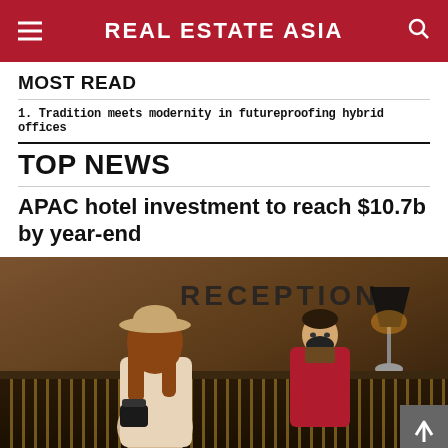REAL ESTATE ASIA
MOST READ
1. Tradition meets modernity in futureproofing hybrid offices
TOP NEWS
APAC hotel investment to reach $10.7b by year-end
[Figure (photo): Hotel reception desk scene with a guest wearing a hat approaching a masked receptionist in a red blazer, with a lamp and 'RECEPTION' sign visible in the background]